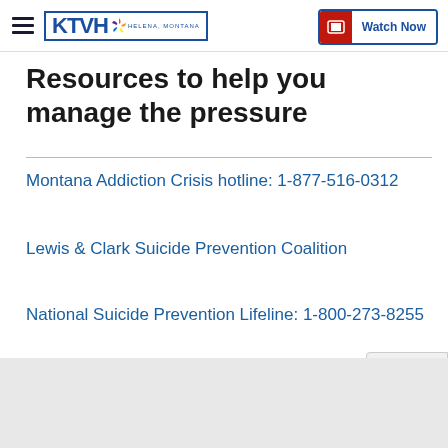KTVH — Watch Now
Resources to help you manage the pressure
Montana Addiction Crisis hotline: 1-877-516-0312
Lewis & Clark Suicide Prevention Coalition
National Suicide Prevention Lifeline: 1-800-273-8255
National Alliance on Mental Illness Mo…